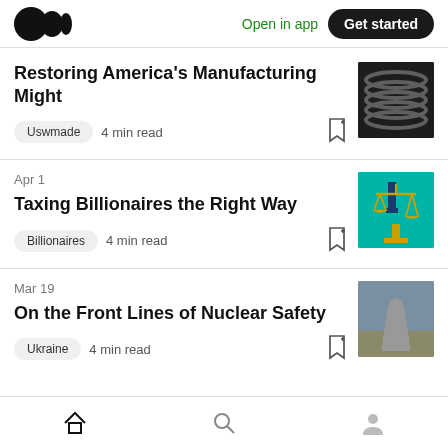Medium logo | Open in app | Get started
Restoring America's Manufacturing Might
Uswmade  4 min read
Apr 1
Taxing Billionaires the Right Way
Billionaires  4 min read
Mar 19
On the Front Lines of Nuclear Safety
Ukraine  4 min read
Home | Search | Profile